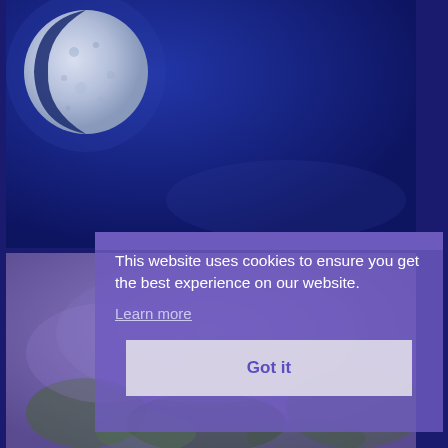[Figure (photo): Deep blue night sky with a partial moon (gibbous phase) in the upper left corner. The sky fades from dark navy to slightly lighter blue.]
[Figure (photo): Blurred purple and green foliage background, lower portion of the page, partially obscured by a cookie consent overlay.]
This website uses cookies to ensure you get the best experience on our website.
Learn more
Got it